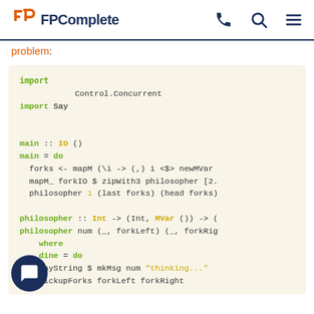FPComplete [phone icon] [search icon] [menu icon]
problem:
[Figure (screenshot): Haskell code block showing import Control.Concurrent, import Say, main :: IO (), main = do, forks <- mapM (\i -> (,) i <$> newMVar, mapM_ forkIO $ zipWith3 philosopher [2., philosopher 1 (last forks) (head forks), philosopher :: Int -> (Int, MVar ()) -> (, philosopher num (_, forkLeft) (_, forkRig, where, dine = do, sayString $ mkMsg num "thinking...", pickupForks forkLeft forkRight]